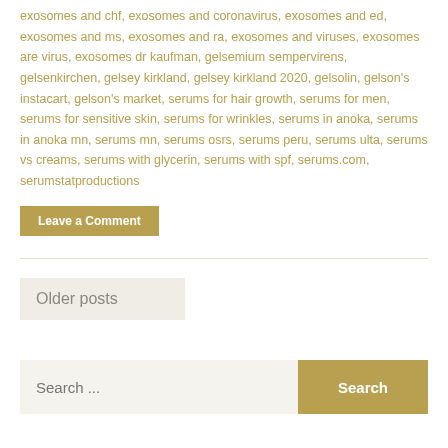exosomes and chf, exosomes and coronavirus, exosomes and ed, exosomes and ms, exosomes and ra, exosomes and viruses, exosomes are virus, exosomes dr kaufman, gelsemium sempervirens, gelsenkirchen, gelsey kirkland, gelsey kirkland 2020, gelsolin, gelson's instacart, gelson's market, serums for hair growth, serums for men, serums for sensitive skin, serums for wrinkles, serums in anoka, serums in anoka mn, serums mn, serums osrs, serums peru, serums ulta, serums vs creams, serums with glycerin, serums with spf, serums.com, serumstatproductions
Leave a Comment
Older posts
Search ...